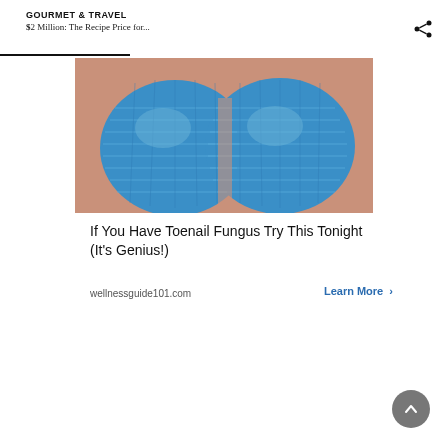GOURMET & TRAVEL
$2 Million: The Recipe Price for...
[Figure (photo): Close-up photo of blue knitted/crocheted slippers being held by hands]
If You Have Toenail Fungus Try This Tonight (It's Genius!)
wellnessguide101.com
Learn More >